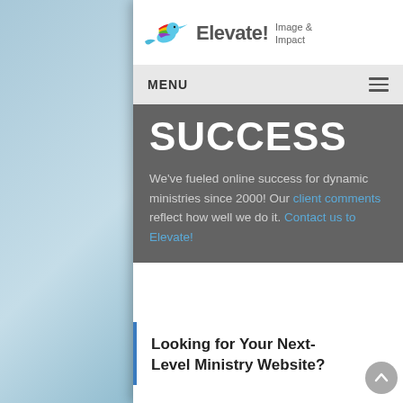[Figure (logo): Elevate! Image & Impact logo with colorful hummingbird on left and company name text on right]
MENU
SUCCESS
We've fueled online success for dynamic ministries since 2000! Our client comments reflect how well we do it. Contact us to Elevate!
Looking for Your Next-Level Ministry Website?